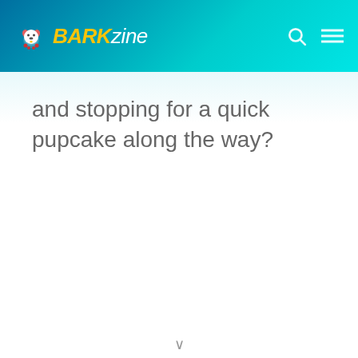BARKzine
and stopping for a quick pupcake along the way?